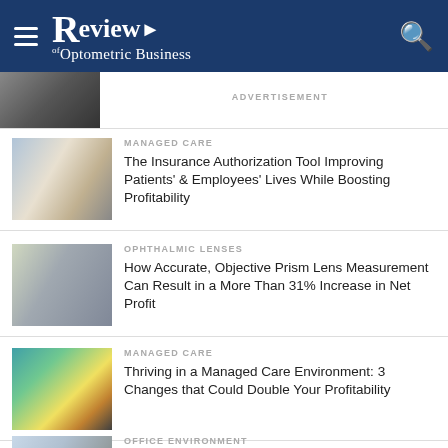Review of Optometric Business
ADVERTISEMENT
MANAGED CARE
The Insurance Authorization Tool Improving Patients' & Employees' Lives While Boosting Profitability
OPHTHALMIC LENSES
How Accurate, Objective Prism Lens Measurement Can Result in a More Than 31% Increase in Net Profit
MANAGED CARE
Thriving in a Managed Care Environment: 3 Changes that Could Double Your Profitability
OFFICE ENVIRONMENT
3 Office Upgrades that Boosted Patient Satisfaction…